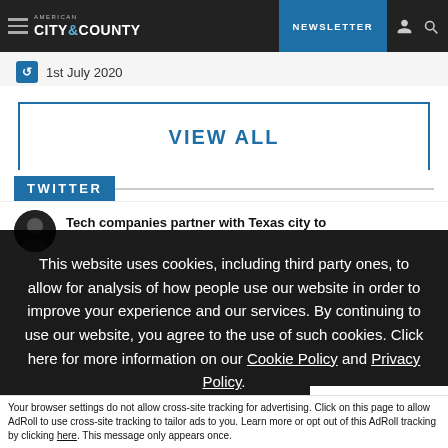American City & County | NEWSLETTER
1st July 2020
VIEW ALL
TWITTER
Tech companies partner with Texas city to
This website uses cookies, including third party ones, to allow for analysis of how people use our website in order to improve your experience and our services. By continuing to use our website, you agree to the use of such cookies. Click here for more information on our Cookie Policy and Privacy Policy.
Accept and Close ✕
Your browser settings do not allow cross-site tracking for advertising. Click on this page to allow AdRoll to use cross-site tracking to tailor ads to you. Learn more or opt out of this AdRoll tracking by clicking here. This message only appears once.